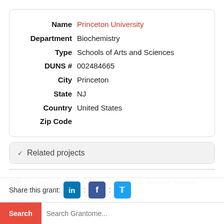| Field | Value |
| --- | --- |
| Name | Princeton University |
| Department | Biochemistry |
| Type | Schools of Arts and Sciences |
| DUNS # | 002484665 |
| City | Princeton |
| State | NJ |
| Country | United States |
| Zip Code |  |
Related projects
NIH 2021 R01
Developmental Patterning of the Anterior Neural Plate in a Simple Chordate
NS
Levine Michael Steven Princeton University
Share this grant: LinkedIn : Facebook : Twitter
Search | Search Grantome...
NIH
Developmental patterning of the